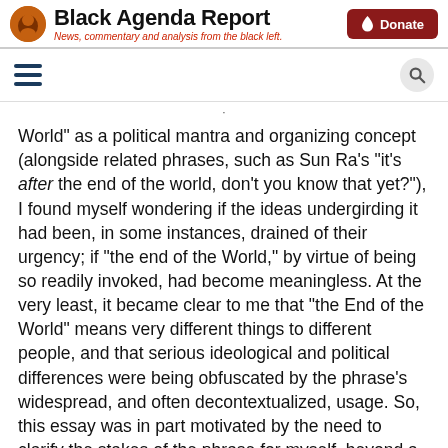Black Agenda Report — News, commentary and analysis from the black left.
World” as a political mantra and organizing concept (alongside related phrases, such as Sun Ra’s “it’s after the end of the world, don’t you know that yet?”), I found myself wondering if the ideas undergirding it had been, in some instances, drained of their urgency; if “the end of the World,” by virtue of being so readily invoked, had become meaningless. At the very least, it became clear to me that “the End of the World” means very different things to different people, and that serious ideological and political differences were being obfuscated by the phrase’s widespread, and often decontextualized, usage. So, this essay was in part motivated by the need to clarify the stakes of the phrase for myself, beyond a kind of sloganeering that happens when complex arguments are distilled and dispersed into social media soundbites